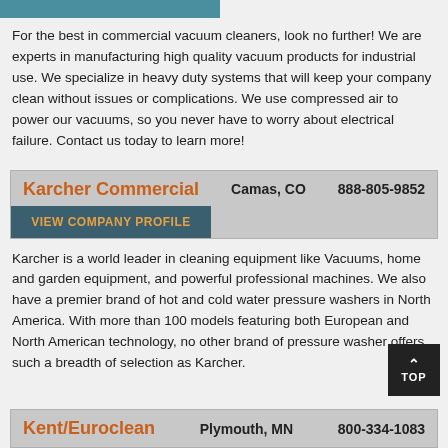[Figure (other): Teal/blue decorative header bar]
For the best in commercial vacuum cleaners, look no further! We are experts in manufacturing high quality vacuum products for industrial use. We specialize in heavy duty systems that will keep your company clean without issues or complications. We use compressed air to power our vacuums, so you never have to worry about electrical failure. Contact us today to learn more!
Karcher Commercial   Camas, CO   888-805-9852
VIEW COMPANY PROFILE
Karcher is a world leader in cleaning equipment like Vacuums, home and garden equipment, and powerful professional machines. We also have a premier brand of hot and cold water pressure washers in North America. With more than 100 models featuring both European and North American technology, no other brand of pressure washer offers such a breadth of selection as Karcher.
Kent/Euroclean   Plymouth, MN   800-334-1083